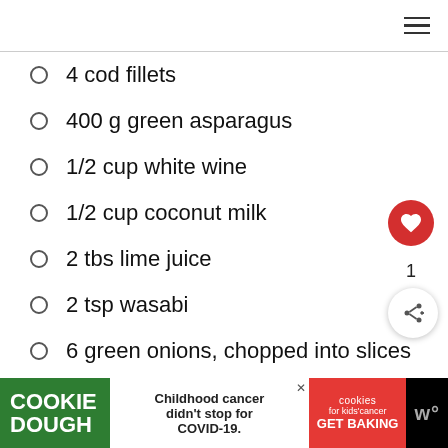≡
4 cod fillets
400 g green asparagus
1/2 cup white wine
1/2 cup coconut milk
2 tbs lime juice
2 tsp wasabi
6 green onions, chopped into slices
6 tbs olive oil
4 tbs chopped parsley
3 tbs chopped cilantro
salt and freshly ground pepper
COOKIE DOUGH | Childhood cancer didn't stop for COVID-19. | cookies for kids' cancer GET BAKING